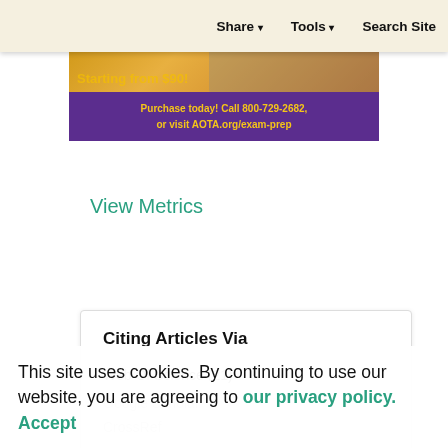Share   Tools   Search Site
[Figure (photo): Advertisement banner for AOTA exam prep. Shows a person at a computer with text: 'Purchase today! Call 800-729-2682, or visit AOTA.org/exam-prep'. Purple and gold color scheme.]
View Metrics
Citing Articles Via
Web Of Science (21)
Google Scholar
CrossRef
This site uses cookies. By continuing to use our website, you are agreeing to our privacy policy. Accept